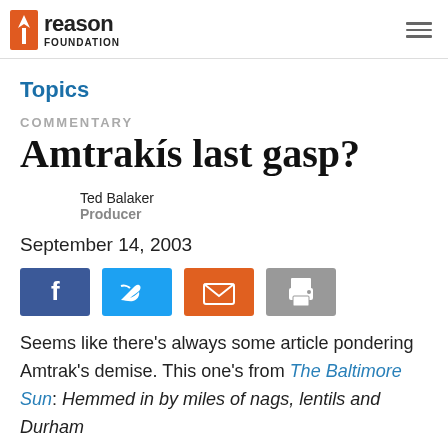Reason Foundation
Topics
COMMENTARY
Amtrakís last gasp?
Ted Balaker
Producer
September 14, 2003
[Figure (other): Social sharing buttons: Facebook, Twitter, Email, Print]
Seems like there's always some article pondering Amtrak's demise. This one's from The Baltimore Sun: Hemmed in by miles of nags, lentils and Durham